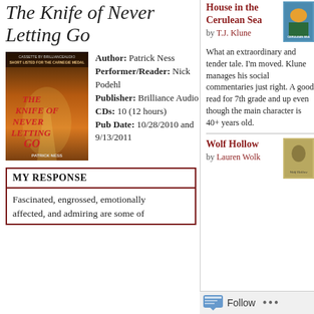The Knife of Never Letting Go
[Figure (photo): Book cover of 'The Knife of Never Letting Go' by Patrick Ness, audiobook edition from Brilliance Audio, with orange and dark tones showing a path and dramatic sky]
Author: Patrick Ness Performer/Reader: Nick Podehl Publisher: Brilliance Audio CDs: 10 (12 hours) Pub Date: 10/28/2010 and 9/13/2011
MY RESPONSE
Fascinated, engrossed, emotionally affected, and admiring are some of
House in the Cerulean Sea
by T.J. Klune
[Figure (photo): Book cover of 'The House in the Cerulean Sea' with colorful illustration]
What an extraordinary and tender tale. I'm moved. Klune manages his social commentaries just right. A good read for 7th grade and up even though the main character is 40+ years old.
Wolf Hollow
by Lauren Wolk
[Figure (photo): Book cover of 'Wolf Hollow' by Lauren Wolk]